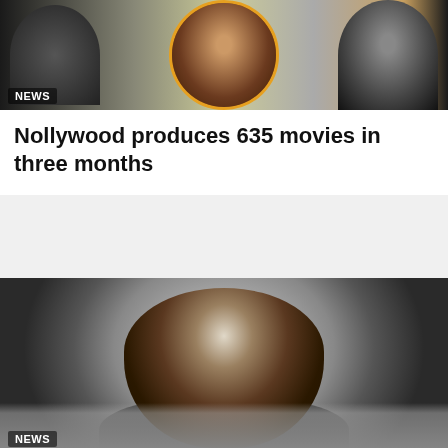[Figure (photo): Top banner showing three portrait photos of people, with a NEWS badge overlay in bottom-left corner]
Nollywood produces 635 movies in three months
[Figure (photo): Black and white photo of French footballer Jean-Pierre Adams wearing a Le Coq Sportif jersey, with a crowd in the background. NEWS badge in bottom-left corner.]
French Footballer Jean-Pierre Adams Has Died After Spending 39 Years In A Coma